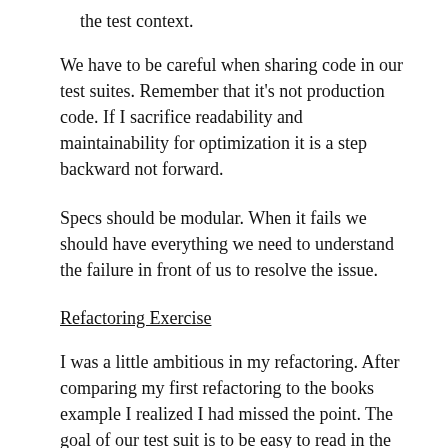the test context.
We have to be careful when sharing code in our test suites. Remember that it’s not production code. If I sacrifice readability and maintainability for optimization it is a step backward not forward.
Specs should be modular. When it fails we should have everything we need to understand the failure in front of us to resolve the issue.
Refactoring Exercise
I was a little ambitious in my refactoring. After comparing my first refactoring to the books example I realized I had missed the point. The goal of our test suit is to be easy to read in the code and execution.
This is the rspec output of my first attempt. I